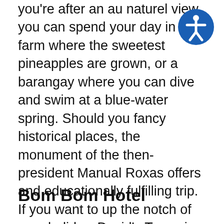you're after an au naturel view, you can spend your day in a farm where the sweetest pineapples are grown, or a barangay where you can dive and swim at a blue-water spring. Should you fancy historical places, the monument of the then-president Manual Roxas offers and educationally fulfilling trip. If you want to up the notch of your holiday, David's Tower is an ancient three-story house which is famous for strange and supernatural events. If you want to visit only the top attractions in Malaybalay City, you might as well stay at the best hotels the area can offer. Here's our top pick:
Bom Bom Hotel